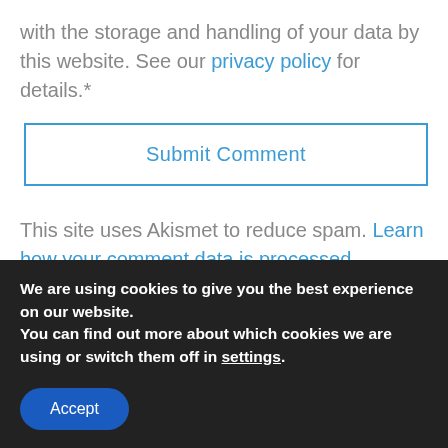with the storage and handling of your data by this website. See our privacy policy for details.*
Submit Comment
This site uses Akismet to reduce spam. Learn how your comment data is processed.
We are using cookies to give you the best experience on our website.
You can find out more about which cookies we are using or switch them off in settings.
Accept